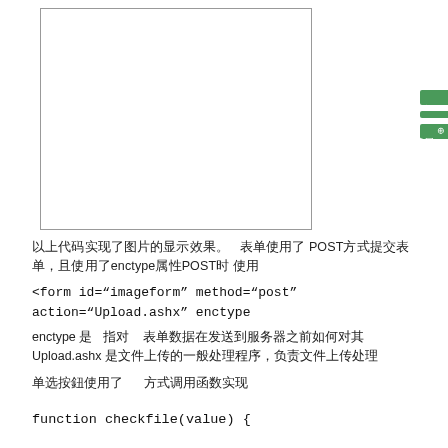[Figure (other): Empty white rectangle with border, representing an image upload area]
以上代码实现了图片的显示效果。 表单使用了 POST方式提交表单，且使用了enctype属性POST时 使用
<form id="imageform" method="post" action="Upload.ashx" enctype
enctype 是指 表单 数据在发送到服务器之前如何对其 Upload.ashx 是文件上传的一般处理程序，负责文件上传处理
单选按钮使用了     onclick="getsex(this.value);"   方式调用函数实现
function checkfile(value) {
if (value == '') {
alert('请选择文件');
imageform.file.focus();